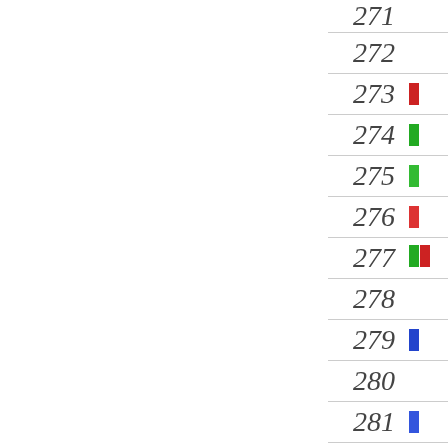| Number | Icon |
| --- | --- |
| 271 |  |
| 272 |  |
| 273 | red icon |
| 274 | green icon |
| 275 | green icon |
| 276 | red icon |
| 277 | multi icon |
| 278 |  |
| 279 | blue icon |
| 280 |  |
| 281 | blue icon |